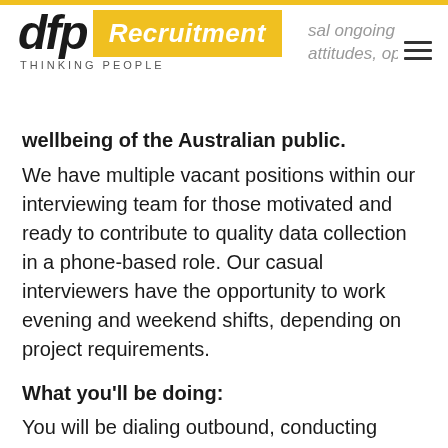dfp Recruitment — THINKING PEOPLE
wellbeing of the Australian public.
We have multiple vacant positions within our interviewing team for those motivated and ready to contribute to quality data collection in a phone-based role. Our casual interviewers have the opportunity to work evening and weekend shifts, depending on project requirements.
What you'll be doing:
You will be dialing outbound, conducting research on a variety of themes including Australian society, health, education and employment. Some of our studies deal with sensitive subject matter such as sexual abuse and community attitudes